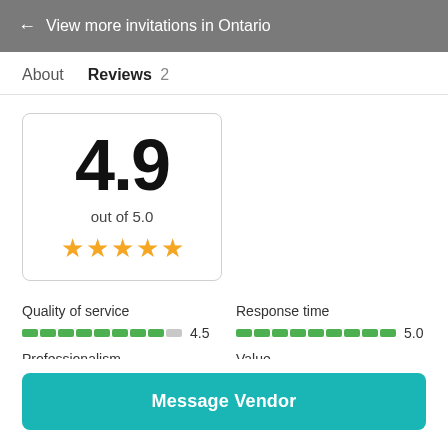← View more invitations in Ontario
About   Reviews 2
4.9
out of 5.0
★★★★★
Quality of service
4.5
Response time
5.0
Professionalism
Value
Message Vendor